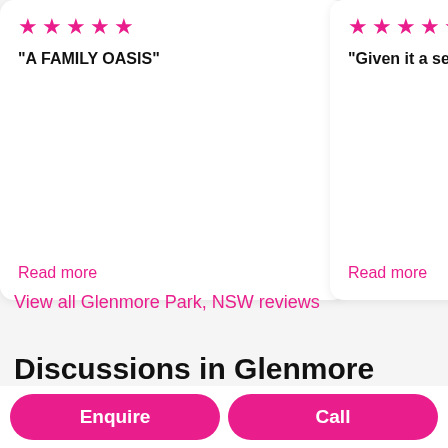★★★★★ "A FAMILY OASIS" Read more
★★★★★ "Given it a sec... Read more
View all Glenmore Park, NSW reviews
Discussions in Glenmore Park, NSW
We bring you the latest hot topics in your area
Enquire
Call